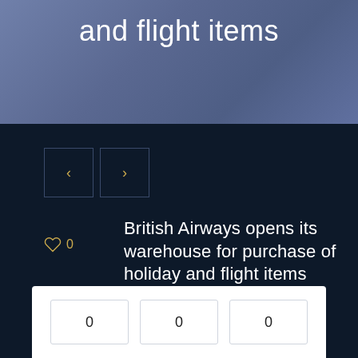and flight items
[Figure (screenshot): Navigation previous and next arrow buttons in bordered boxes on dark background]
♡ 0
British Airways opens its warehouse for purchase of holiday and flight items
[Figure (screenshot): Three counter boxes each showing 0 on white card]